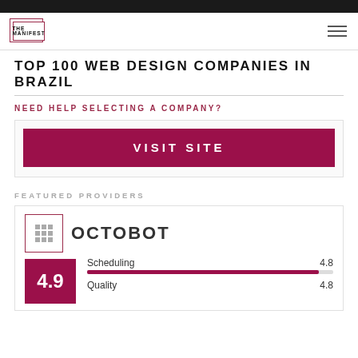THE MANIFEST
TOP 100 WEB DESIGN COMPANIES IN BRAZIL
NEED HELP SELECTING A COMPANY?
VISIT SITE
FEATURED PROVIDERS
OCTOBOT
| Category | Score |
| --- | --- |
| Scheduling | 4.8 |
| Quality | 4.8 |
4.9